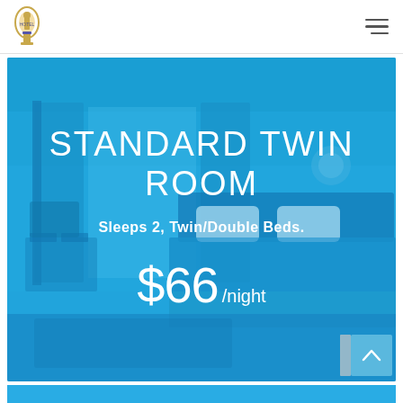Hotel logo and navigation menu
[Figure (photo): Hotel standard twin room interior with blue color tint overlay showing twin/double beds, chairs, and curtains]
STANDARD TWIN ROOM
Sleeps 2, Twin/Double Beds.
$66/night